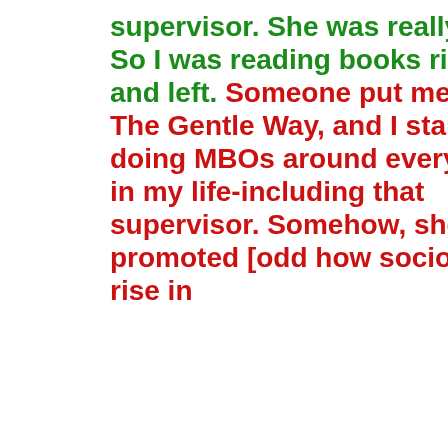supervisor. She was really bad. So I was reading books right and left. Someone put me onto The Gentle Way, and I started doing MBOs around everything in my life-including that supervisor. Somehow, she was promoted [odd how sociopaths rise in